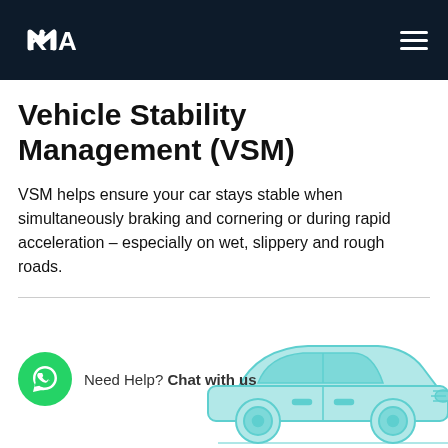Kia — Vehicle Stability Management (VSM)
Vehicle Stability Management (VSM)
VSM helps ensure your car stays stable when simultaneously braking and cornering or during rapid acceleration – especially on wet, slippery and rough roads.
[Figure (illustration): Kia vehicle line illustration in light blue/teal color showing a car from a side/front angle, partially visible at bottom of page]
Need Help? Chat with us